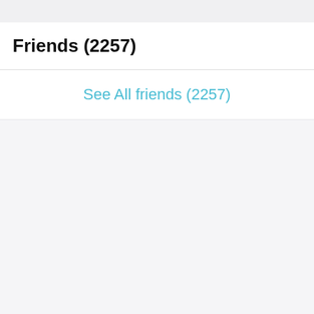Friends (2257)
See All friends (2257)